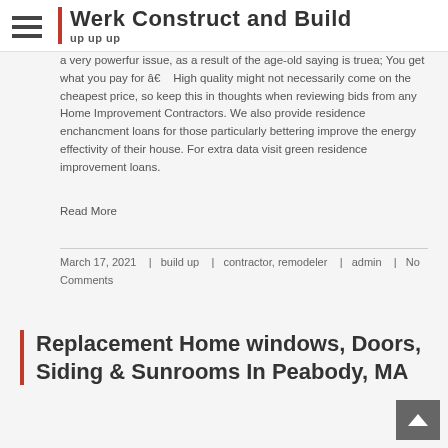Werk Construct and Build — up up up
a very powerfur issue, as a result of the age-old saying is truea; You get what you pay for â€    High quality might not necessarily come on the cheapest price, so keep this in thoughts when reviewing bids from any Home Improvement Contractors. We also provide residence enchancment loans for those particularly bettering improve the energy effectivity of their house. For extra data visit green residence improvement loans.
Read More
March 17, 2021   |  build up   |  contractor, remodeler   |  admin   |  No Comments
Replacement Home windows, Doors, Siding & Sunrooms In Peabody, MA
The strategy of spring typically encourages householders to begin